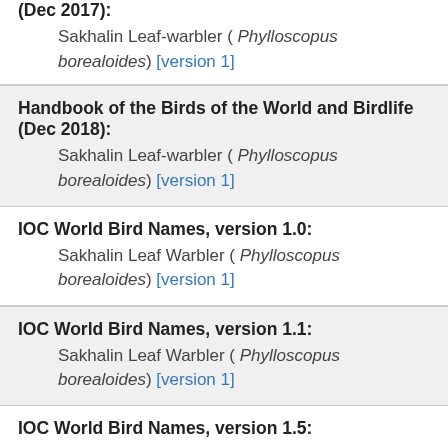(Dec 2017): Sakhalin Leaf-warbler ( Phylloscopus borealoides) [version 1]
Handbook of the Birds of the World and Birdlife (Dec 2018):
Sakhalin Leaf-warbler ( Phylloscopus borealoides) [version 1]
IOC World Bird Names, version 1.0:
Sakhalin Leaf Warbler ( Phylloscopus borealoides) [version 1]
IOC World Bird Names, version 1.1:
Sakhalin Leaf Warbler ( Phylloscopus borealoides) [version 1]
IOC World Bird Names, version 1.5:
Sakhalin Leaf Warbler ( Phylloscopus